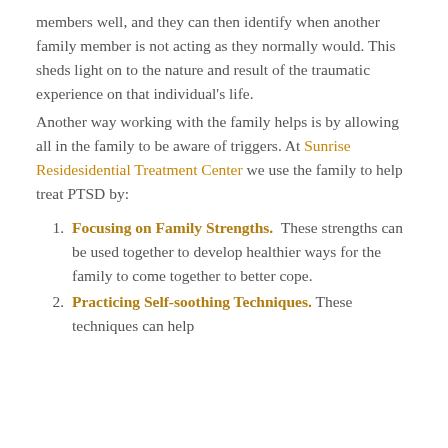members well, and they can then identify when another family member is not acting as they normally would. This sheds light on to the nature and result of the traumatic experience on that individual's life.
Another way working with the family helps is by allowing all in the family to be aware of triggers. At Sunrise Residesidential Treatment Center we use the family to help treat PTSD by:
Focusing on Family Strengths. These strengths can be used together to develop healthier ways for the family to come together to better cope.
Practicing Self-soothing Techniques. These techniques can help